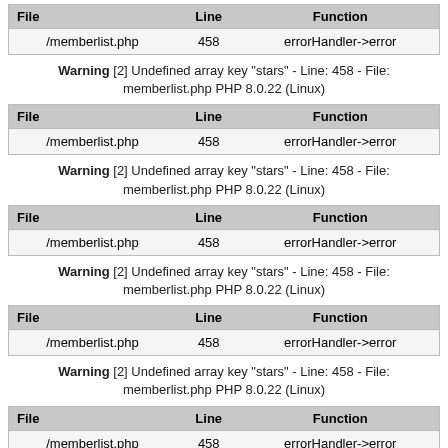| File | Line | Function |
| --- | --- | --- |
| /memberlist.php | 458 | errorHandler->error |
Warning [2] Undefined array key "stars" - Line: 458 - File: memberlist.php PHP 8.0.22 (Linux)
| File | Line | Function |
| --- | --- | --- |
| /memberlist.php | 458 | errorHandler->error |
Warning [2] Undefined array key "stars" - Line: 458 - File: memberlist.php PHP 8.0.22 (Linux)
| File | Line | Function |
| --- | --- | --- |
| /memberlist.php | 458 | errorHandler->error |
Warning [2] Undefined array key "stars" - Line: 458 - File: memberlist.php PHP 8.0.22 (Linux)
| File | Line | Function |
| --- | --- | --- |
| /memberlist.php | 458 | errorHandler->error |
Warning [2] Undefined array key "stars" - Line: 458 - File: memberlist.php PHP 8.0.22 (Linux)
| File | Line | Function |
| --- | --- | --- |
| /memberlist.php | 458 | errorHandler->error |